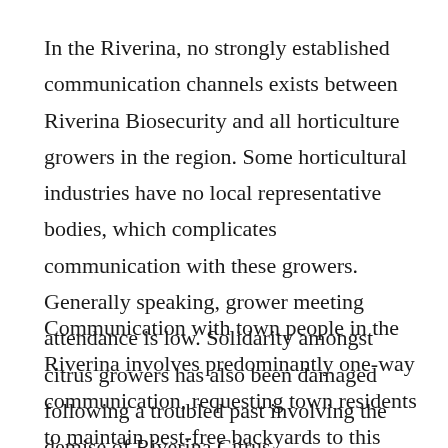In the Riverina, no strongly established communication channels exists between Riverina Biosecurity and all horticulture growers in the region. Some horticultural industries have no local representative bodies, which complicates communication with these growers. Generally speaking, grower meeting attendance is low. Solidarity amongst citrus growers has also been damaged following a troubled past involving the demise of Riverina Citrus.
Communication with town people in the Riverina involves predominantly one-way communication, requesting town residents to maintain pest-free backyards to this being changed to a direct engagement...